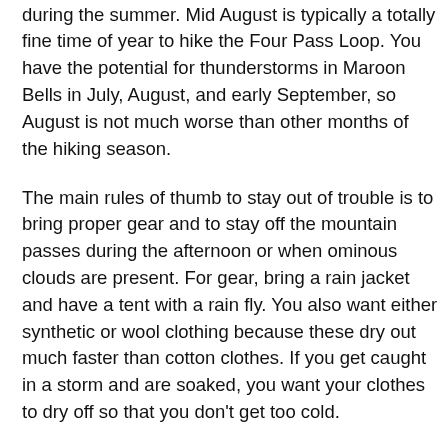about is really just the tendency of there to be afternoon thunderstorms in the Colorado Rockies during the summer. Mid August is typically a totally fine time of year to hike the Four Pass Loop. You have the potential for thunderstorms in Maroon Bells in July, August, and early September, so August is not much worse than other months of the hiking season.
The main rules of thumb to stay out of trouble is to bring proper gear and to stay off the mountain passes during the afternoon or when ominous clouds are present. For gear, bring a rain jacket and have a tent with a rain fly. You also want either synthetic or wool clothing because these dry out much faster than cotton clothes. If you get caught in a storm and are soaked, you want your clothes to dry off so that you don't get too cold.